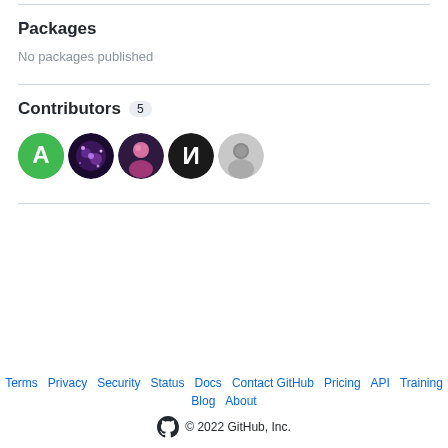Packages
No packages published
Contributors 5
[Figure (illustration): Five contributor avatars in circular frames: green A logo, dark purple galaxy-style photo, pink/purple person photo, black N letter logo, gray person photo]
Terms · Privacy · Security · Status · Docs · Contact GitHub · Pricing · API · Training · Blog · About · © 2022 GitHub, Inc.